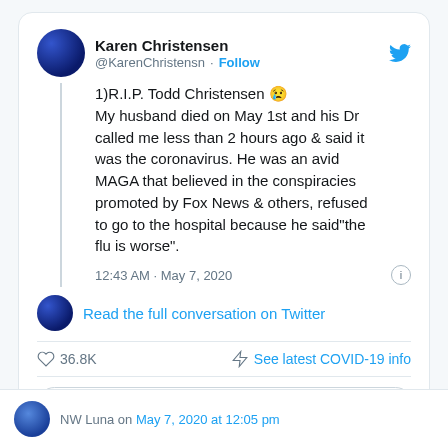[Figure (screenshot): Twitter screenshot showing a tweet by Karen Christensen (@KarenChristensn) with tweet text, timestamp, and engagement actions]
1)R.I.P. Todd Christensen 😢 My husband died on May 1st and his Dr called me less than 2 hours ago & said it was the coronavirus. He was an avid MAGA that believed in the conspiracies promoted by Fox News & others, refused to go to the hospital because he said"the flu is worse".
12:43 AM · May 7, 2020
Read the full conversation on Twitter
36.8K  See latest COVID-19 info
Read 3.7K replies
NW Luna on May 7, 2020 at 12:05 pm